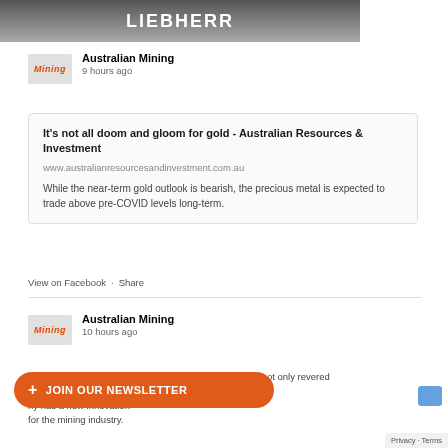[Figure (photo): Liebherr branded machinery/truck advertisement banner image at top of page]
Australian Mining
9 hours ago
It's not all doom and gloom for gold - Australian Resources & Investment
www.australianresourcesandinvestment.com.au
While the near-term gold outlook is bearish, the precious metal is expected to trade above pre-COVID levels long-term.
View on Facebook · Share
Australian Mining
10 hours ago
Established in 2003, Perry's nye... Distribution is not only revered ly sought-after across the ny has a new innovation for the mining industry.
+ JOIN OUR NEWSLETTER
Privacy · Terms